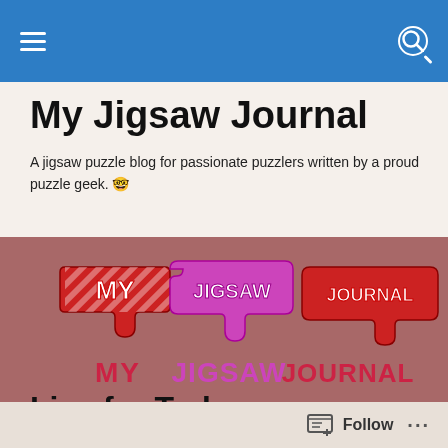Navigation bar with hamburger menu and search icon
My Jigsaw Journal
A jigsaw puzzle blog for passionate puzzlers written by a proud puzzle geek. 🤓
[Figure (photo): Photo of three jigsaw-puzzle-shaped signs spelling MY JIGSAW JOURNAL on a pink/mauve textured background. The puzzle pieces have red and white striped candy cane patterns on top pieces and pink text below.]
Live for Today
Follow ...